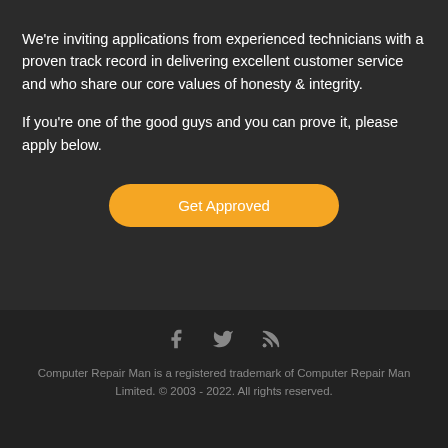We're inviting applications from experienced technicians with a proven track record in delivering excellent customer service and who share our core values of honesty & integrity.
If you're one of the good guys and you can prove it, please apply below.
[Figure (other): Orange rounded button labeled 'Get Approved']
[Figure (other): Social media icons: Facebook (f), Twitter (bird), RSS feed icon]
Computer Repair Man is a registered trademark of Computer Repair Man Limited. © 2003 - 2022. All rights reserved.